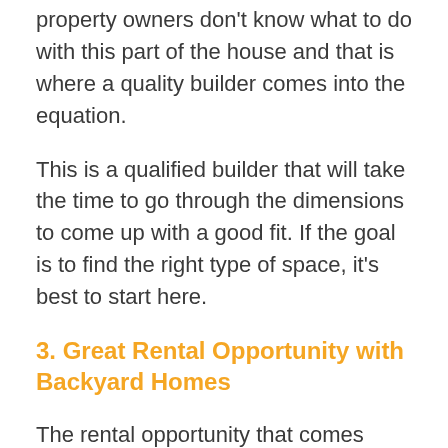property owners don't know what to do with this part of the house and that is where a quality builder comes into the equation.
This is a qualified builder that will take the time to go through the dimensions to come up with a good fit. If the goal is to find the right type of space, it's best to start here.
3. Great Rental Opportunity with Backyard Homes
The rental opportunity that comes along with this backyard home will be second